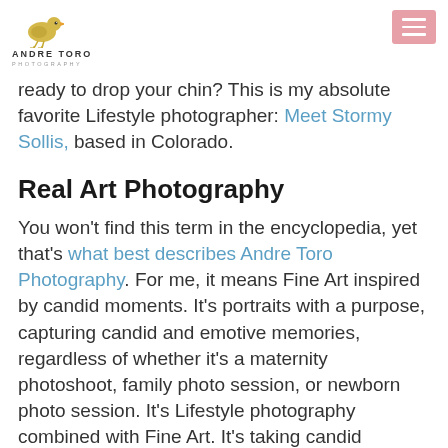ANDRE TORO PHOTOGRAPHY
ready to drop your chin? This is my absolute favorite Lifestyle photographer: Meet Stormy Sollis, based in Colorado.
Real Art Photography
You won't find this term in the encyclopedia, yet that's what best describes Andre Toro Photography. For me, it means Fine Art inspired by candid moments. It's portraits with a purpose, capturing candid and emotive memories, regardless of whether it's a maternity photoshoot, family photo session, or newborn photo session. It's Lifestyle photography combined with Fine Art. It's taking candid moments and transforming them into pieces of